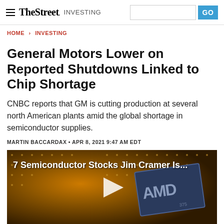TheStreet INVESTING
HOME > INVESTING
General Motors Lower on Reported Shutdowns Linked to Chip Shortage
CNBC reports that GM is cutting production at several north American plants amid the global shortage in semiconductor supplies.
MARTIN BACCARDAX • APR 8, 2021 9:47 AM EDT
[Figure (photo): Video thumbnail showing AMD semiconductor chip on circuit board background with text '7 Semiconductor Stocks Jim Cramer Is...' and a play button overlay]